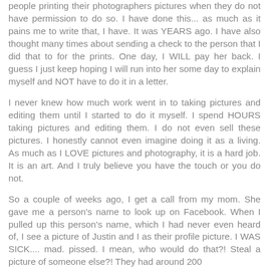people printing their photographers pictures when they do not have permission to do so. I have done this... as much as it pains me to write that, I have. It was YEARS ago. I have also thought many times about sending a check to the person that I did that to for the prints. One day, I WILL pay her back. I guess I just keep hoping I will run into her some day to explain myself and NOT have to do it in a letter.
I never knew how much work went in to taking pictures and editing them until I started to do it myself. I spend HOURS taking pictures and editing them. I do not even sell these pictures. I honestly cannot even imagine doing it as a living. As much as I LOVE pictures and photography, it is a hard job. It is an art. And I truly believe you have the touch or you do not.
So a couple of weeks ago, I get a call from my mom. She gave me a person's name to look up on Facebook. When I pulled up this person's name, which I had never even heard of, I see a picture of Justin and I as their profile picture. I WAS SICK.... mad. pissed. I mean, who would do that?! Steal a picture of someone else?! They had around 200